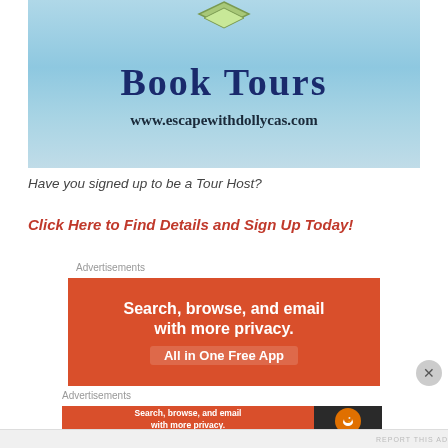[Figure (illustration): Book Tours banner image with ocean/beach background showing 'Book Tours' text in large dark blue lettering and 'www.escapewithdollycas.com' URL below, with a green book icon at top]
Have you signed up to be a Tour Host?
Click Here to Find Details and Sign Up Today!
Advertisements
[Figure (screenshot): DuckDuckGo advertisement banner with orange background saying 'Search, browse, and email with more privacy. All in One Free App']
Advertisements
[Figure (screenshot): DuckDuckGo horizontal advertisement banner with orange background and duck logo on dark right side saying 'Search, browse, and email with more privacy. All in One Free App']